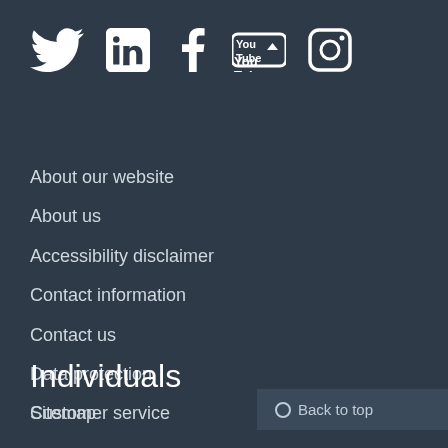[Figure (illustration): Social media icons: Twitter, LinkedIn, Facebook, YouTube, Instagram]
About our website
About us
Accessibility disclaimer
Contact information
Contact us
Data protection
Sitemap
Individuals
Customer service
Back to top